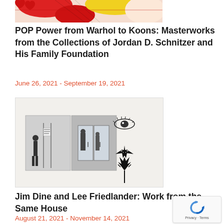[Figure (photo): Partial view of a colorful pop art image with red, yellow and white tones, partially cropped at top]
POP Power from Warhol to Koons: Masterworks from the Collections of Jordan D. Schnitzer and His Family Foundation
June 26, 2021 - September 19, 2021
[Figure (photo): Black and white artwork showing two photographs of a person standing near a building entrance on the left, and three dark abstract ink drawings on the right against a white background]
Jim Dine and Lee Friedlander: Work from the Same House
August 21, 2021 - November 14, 2021